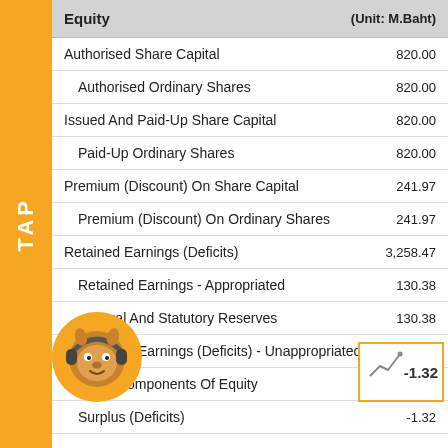| Equity | (Unit: M.Baht) |
| --- | --- |
| Authorised Share Capital | 820.00 |
| Authorised Ordinary Shares | 820.00 |
| Issued And Paid-Up Share Capital | 820.00 |
| Paid-Up Ordinary Shares | 820.00 |
| Premium (Discount) On Share Capital | 241.97 |
| Premium (Discount) On Ordinary Shares | 241.97 |
| Retained Earnings (Deficits) | 3,258.47 |
| Retained Earnings - Appropriated | 130.38 |
| Legal And Statutory Reserves | 130.38 |
| Retained Earnings (Deficits) - Unappropriated | 3,128.10 |
| Other Components Of Equity | -1.32 |
| Surplus (Deficits) | -1.32 |